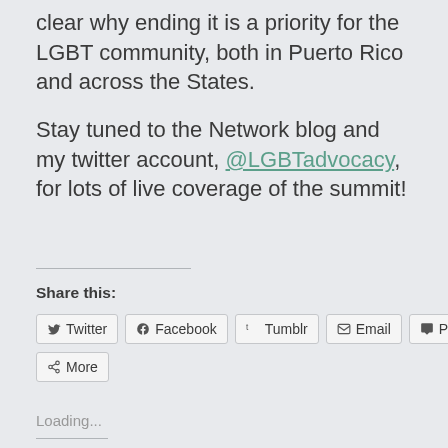clear why ending it is a priority for the LGBT community, both in Puerto Rico and across the States.
Stay tuned to the Network blog and my twitter account, @LGBTadvocacy, for lots of live coverage of the summit!
Share this:
[Figure (other): Share buttons row: Twitter, Facebook, Tumblr, Email, Pocket, and More]
Loading...